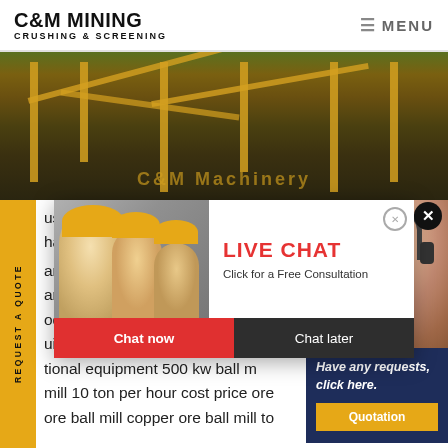C&M MINING CRUSHING & SCREENING | MENU
[Figure (photo): Mining crushing and screening equipment with yellow machinery structures outdoors, with C&M Machinery watermark text overlay]
[Figure (screenshot): Live Chat popup overlay showing workers in hard hats, LIVE CHAT heading in red, 'Click for a Free Consultation' subtitle, Chat now (red) and Chat later (dark) buttons]
[Figure (photo): Customer support representative wearing headset, Have any requests click here text, Quotation button]
...ushing ...harty ... anian s...artz san...production line mainly including qu...uipment quartz grinding equipm...tional equipment 500 kw ball m...mill 10 ton per hour cost price ore...ore ball mill copper ore ball mill to...